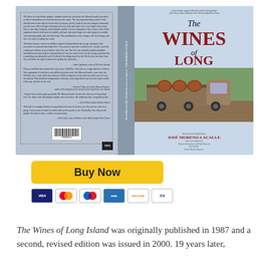[Figure (photo): Book cover of 'The Wines of Long Island' revised and updated by José Moreno-Lacalle, showing front and back cover with a vintage truck loaded with wine barrels on the front cover]
[Figure (other): Buy Now button with PayPal styling in yellow, with payment icons below: Visa, Mastercard, Maestro, American Express, Discover, JCB]
The Wines of Long Island was originally published in 1987 and a second, revised edition was issued in 2000. 19 years later,